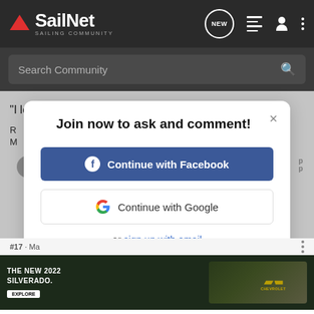SailNet - Sailing Community
Search Community
"I love 2 strokes"
[Figure (screenshot): Modal dialog with title 'Join now to ask and comment!', two login buttons: 'Continue with Facebook' and 'Continue with Google', and a link 'sign up with email']
[Figure (photo): Chevrolet advertisement showing The New 2022 Silverado truck with Explore button and Chevrolet logo]